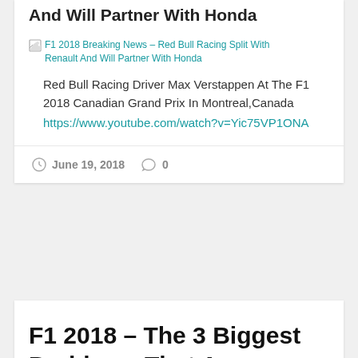And Will Partner With Honda
[Figure (photo): Broken image placeholder for F1 2018 Breaking News – Red Bull Racing Split With Renault And Will Partner With Honda]
Red Bull Racing Driver Max Verstappen At The F1 2018 Canadian Grand Prix In Montreal,Canada
https://www.youtube.com/watch?v=Yic75VP1ONA
June 19, 2018   0
F1 2018 – The 3 Biggest Problems That Are Destroying The Racing In Formula 1